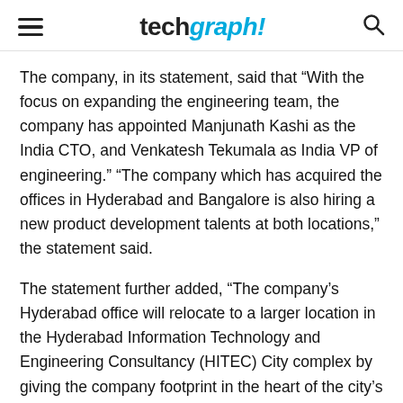techgraph!
The company, in its statement, said that “With the focus on expanding the engineering team, the company has appointed Manjunath Kashi as the India CTO, and Venkatesh Tekumala as India VP of engineering.” “The company which has acquired the offices in Hyderabad and Bangalore is also hiring a new product development talents at both locations,” the statement said.
The statement further added, “The company’s Hyderabad office will relocate to a larger location in the Hyderabad Information Technology and Engineering Consultancy (HITEC) City complex by giving the company footprint in the heart of the city’s vibrant high-tech business ecosystem. The company will also set up a new office in Bangalore, the “Silicon Valley of India,” to expand its product